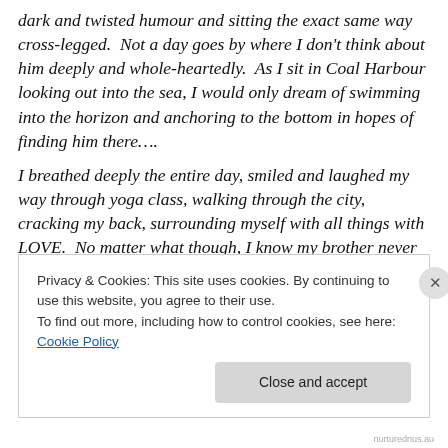dark and twisted humour and sitting the exact same way cross-legged.  Not a day goes by where I don't think about him deeply and whole-heartedly.  As I sit in Coal Harbour looking out into the sea, I would only dream of swimming into the horizon and anchoring to the bottom in hopes of finding him there….
I breathed deeply the entire day, smiled and laughed my way through yoga class, walking through the city, cracking my back, surrounding myself with all things with LOVE.  No matter what though, I know my brother never had the opportunities that most people get in a lifetime.
Privacy & Cookies: This site uses cookies. By continuing to use this website, you agree to their use.
To find out more, including how to control cookies, see here: Cookie Policy